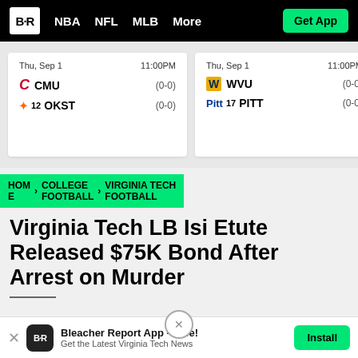B·R  NBA  NFL  MLB  More  Get App
| Date | Time | Team | Record |
| --- | --- | --- | --- |
| Thu, Sep 1 | 11:00PM | CMU | (0-0) |
| Thu, Sep 1 | 11:00PM | 12 OKST | (0-0) |
| Thu, Sep 1 | 11:00PM | WVU | (0-0) |
| Thu, Sep 1 | 11:00PM | 17 PITT | (0-0) |
The late
HOME > COLLEGE FOOTBALL > VIRGINIA TECH FOOTBALL
Virginia Tech LB Isi Etute Released $75K Bond After Arrest on Murder
Bleacher Report App - Free! Get the Latest Virginia Tech News  Install